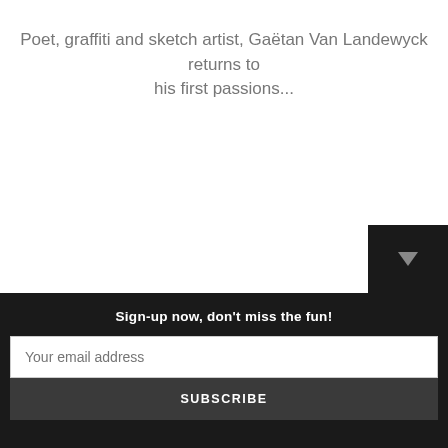Poet, graffiti and sketch artist, Gaëtan Van Landewyck returns to his first passions...
Sign-up now, don't miss the fun!
Your email address
SUBSCRIBE